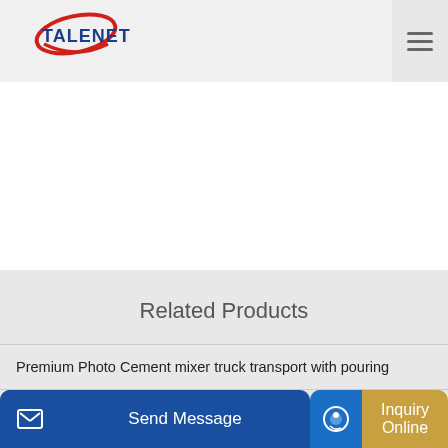TALENET
Related Products
Premium Photo Cement mixer truck transport with pouring
Jzc350b Concrete Mixer Buy Jzc350b Concrete Mixer China
bm 4
Send Message
Inquiry Online